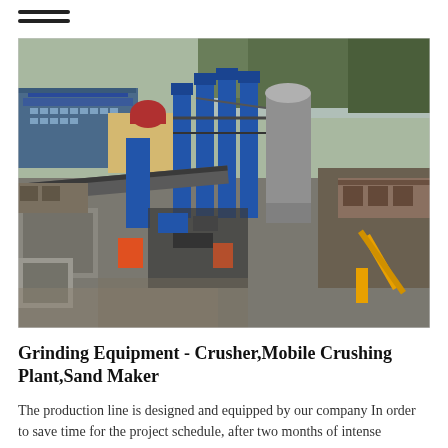≡
[Figure (photo): Aerial/drone view of an industrial grinding and crushing plant facility with blue vertical silos, conveyor systems, and heavy equipment. Buildings with blue roofs visible in background, surrounded by trees and a construction/industrial yard.]
Grinding Equipment - Crusher,Mobile Crushing Plant,Sand Maker
The production line is designed and equipped by our company In order to save time for the project schedule, after two months of intense